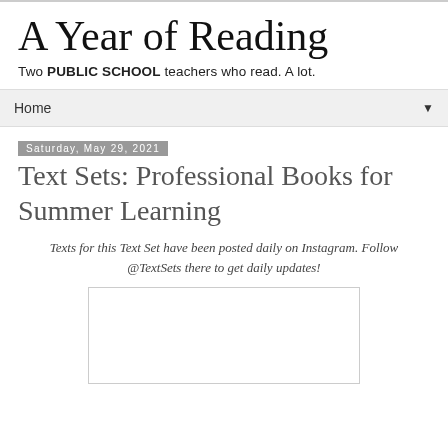A Year of Reading
Two PUBLIC SCHOOL teachers who read. A lot.
Home ▼
Saturday, May 29, 2021
Text Sets: Professional Books for Summer Learning
Texts for this Text Set have been posted daily on Instagram. Follow @TextSets there to get daily updates!
[Figure (other): Image placeholder box, white background with light border]